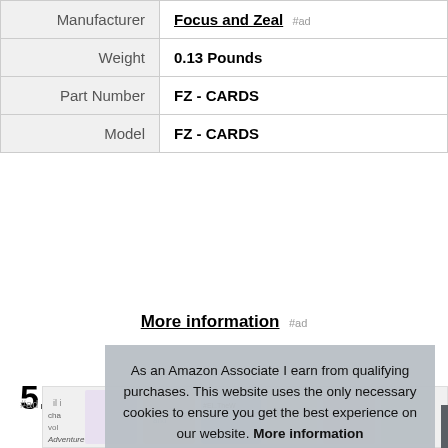|  |  |
| --- | --- |
| Manufacturer | Focus and Zeal #ad |
| Weight | 0.13 Pounds |
| Part Number | FZ - CARDS |
| Model | FZ - CARDS |
More information #ad
5. BENYU
#ad
As an Amazon Associate I earn from qualifying purchases. This website uses the only necessary cookies to ensure you get the best experience on our website. More information